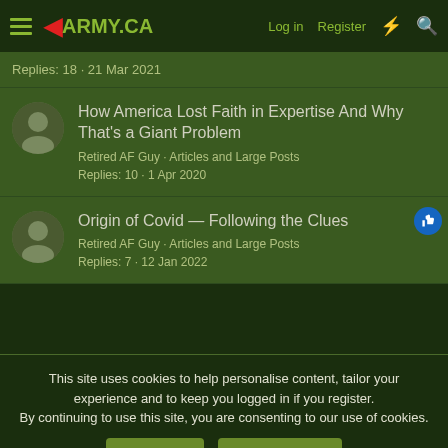ARMY.CA — Log in · Register
Replies: 18 · 21 Mar 2021
How America Lost Faith in Expertise And Why That's a Giant Problem
Retired AF Guy · Articles and Large Posts
Replies: 10 · 1 Apr 2020
Origin of Covid — Following the Clues
Retired AF Guy · Articles and Large Posts
Replies: 7 · 12 Jan 2022
This site uses cookies to help personalise content, tailor your experience and to keep you logged in if you register.
By continuing to use this site, you are consenting to our use of cookies.